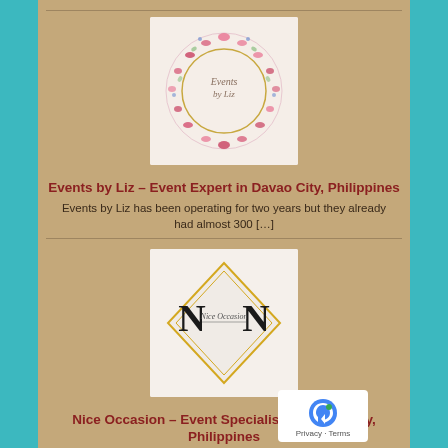[Figure (logo): Events by Liz floral wreath circular logo with pink flowers and script text]
Events by Liz – Event Expert in Davao City, Philippines
Events by Liz has been operating for two years but they already had almost 300 […]
[Figure (logo): Nice Occasion diamond-shaped logo with large N letters and script text 'Nice Occasion']
Nice Occasion – Event Specialist in Davao City, Philippines
Nice Occasion is a full-service Wedding organizer in Davao and Event Coordinator in Davao, specializing […]